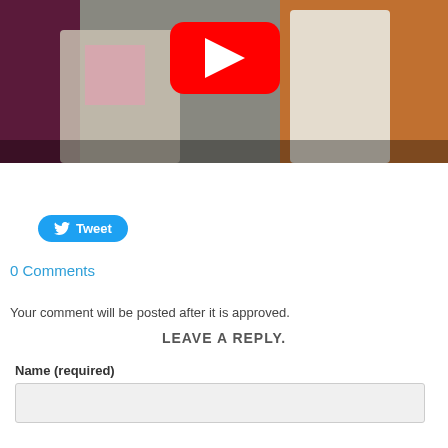[Figure (screenshot): YouTube video thumbnail showing two people standing on a stage, one in a light suit and one in a white dress, with a red YouTube play button overlay in the center top area.]
Tweet
0 Comments
Your comment will be posted after it is approved.
LEAVE A REPLY.
Name (required)